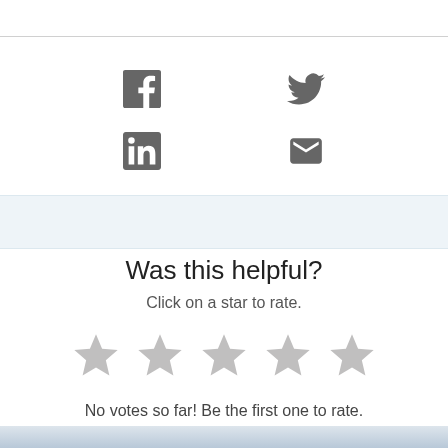[Figure (infographic): Social media share icons: Facebook, Twitter, LinkedIn, Email]
Was this helpful?
Click on a star to rate.
[Figure (infographic): Five empty/unrated star icons for rating]
No votes so far! Be the first one to rate.